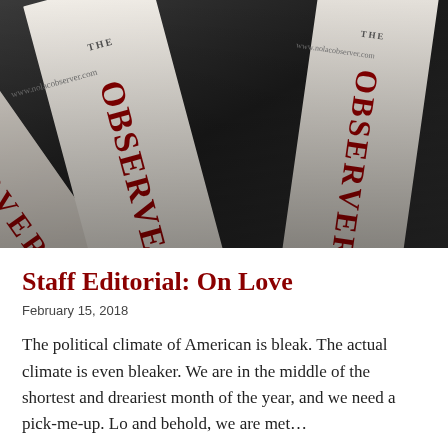[Figure (photo): Close-up photograph of multiple copies of 'The Observer' newspaper stacked/fanned out, showing the masthead with 'THE OBSERVER' in large dark red/maroon serif letters on white newspaper pages, with a blurred dark background.]
Staff Editorial: On Love
February 15, 2018
The political climate of American is bleak. The actual climate is even bleaker. We are in the middle of the shortest and dreariest month of the year, and we need a pick-me-up. Lo and behold, we are met...